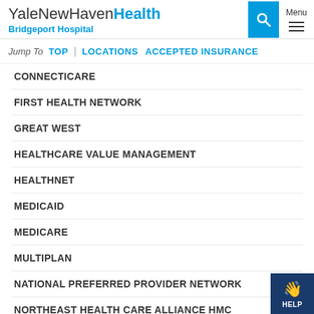YaleNewHavenHealth Bridgeport Hospital
Jump To TOP | LOCATIONS ACCEPTED INSURANCE
CONNECTICARE
FIRST HEALTH NETWORK
GREAT WEST
HEALTHCARE VALUE MANAGEMENT
HEALTHNET
MEDICAID
MEDICARE
MULTIPLAN
NATIONAL PREFERRED PROVIDER NETWORK
NORTHEAST HEALTH CARE ALLIANCE HMC
OXFORD HEALTH PLANS